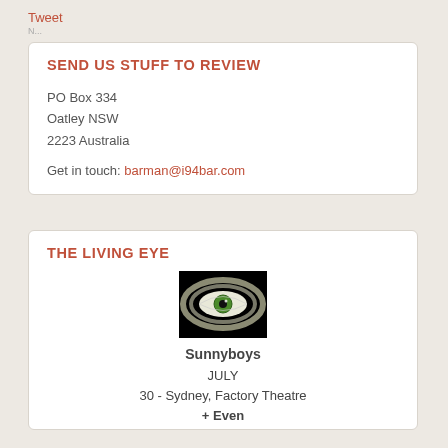Tweet
SEND US STUFF TO REVIEW
PO Box 334
Oatley NSW
2223 Australia

Get in touch: barman@i94bar.com
THE LIVING EYE
[Figure (illustration): A close-up image of a green eye on a black background with glowing white light around the iris]
Sunnyboys
JULY
30 - Sydney, Factory Theatre
+ Even
(July 2 t-- valid for this date)